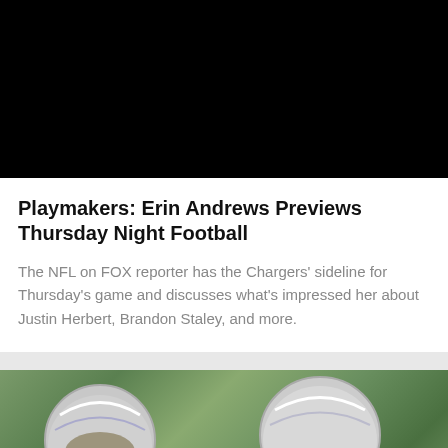[Figure (screenshot): Black video player area at top of page]
Playmakers: Erin Andrews Previews Thursday Night Football
The NFL on FOX reporter has the Chargers' sideline for Thursday's game and discusses what's impressed her about Justin Herbert, Brandon Staley, and more.
[Figure (photo): Two NFL players in helmets and football gear facing each other, one in a blue Chargers uniform with gold facemask on the left, another in a white uniform on the right with text on jersey]